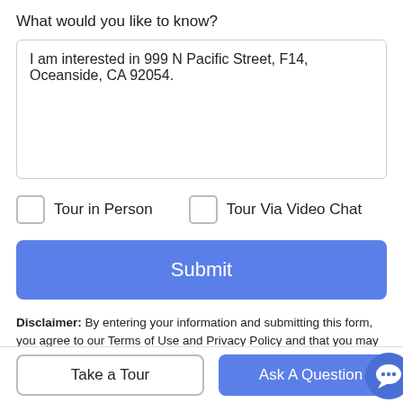What would you like to know?
I am interested in 999 N Pacific Street, F14, Oceanside, CA 92054.
Tour in Person
Tour Via Video Chat
Submit
Disclaimer: By entering your information and submitting this form, you agree to our Terms of Use and Privacy Policy and that you may be contacted by phone, text message and email about your inquiry.
Take a Tour
Ask A Question